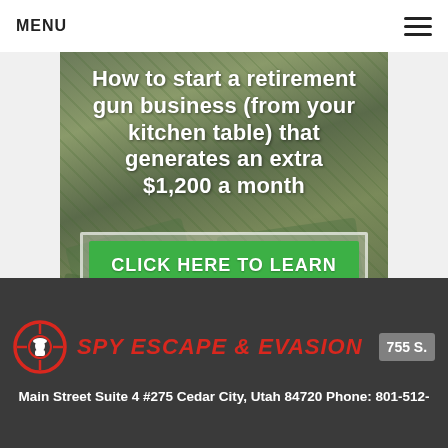MENU
[Figure (infographic): Advertisement banner showing US dollar bills background with headline text 'How to start a retirement gun business (from your kitchen table) that generates an extra $1,200 a month' and a green button 'CLICK HERE TO LEARN MORE']
SPY ESCAPE & EVASION  755 S.  Main Street Suite 4 #275 Cedar City, Utah 84720 Phone: 801-512-